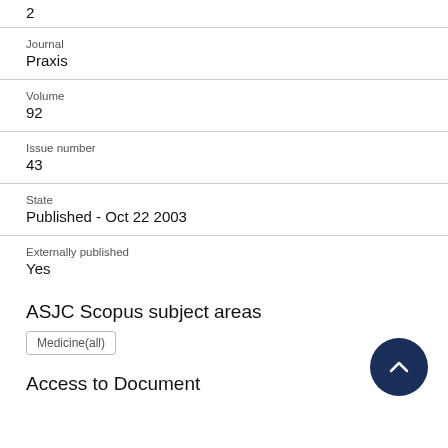2
Journal
Praxis
Volume
92
Issue number
43
State
Published - Oct 22 2003
Externally published
Yes
ASJC Scopus subject areas
Medicine(all)
Access to Document